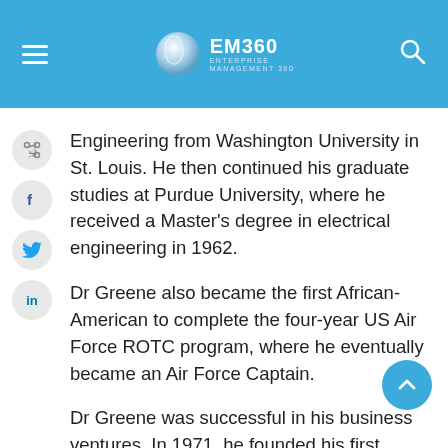EM360 ENTERPRISE MANAGEMENT 360
Engineering from Washington University in St. Louis. He then continued his graduate studies at Purdue University, where he received a Master's degree in electrical engineering in 1962.
Dr Greene also became the first African-American to complete the four-year US Air Force ROTC program, where he eventually became an Air Force Captain.
Dr Greene was successful in his business ventures. In 1971, he founded his first business, Technology Development Corporation (TDC), which he ran while serving as assistant